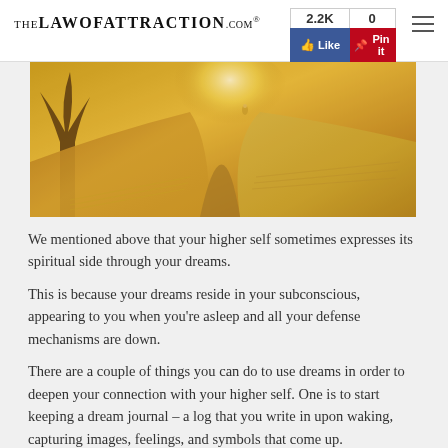TheLawOfAttraction.com
[Figure (photo): An open book with golden/warm light emanating from its pages, showing a landscape scene emerging from the book pages.]
We mentioned above that your higher self sometimes expresses its spiritual side through your dreams.
This is because your dreams reside in your subconscious, appearing to you when you're asleep and all your defense mechanisms are down.
There are a couple of things you can do to use dreams in order to deepen your connection with your higher self. One is to start keeping a dream journal – a log that you write in upon waking, capturing images, feelings, and symbols that come up.